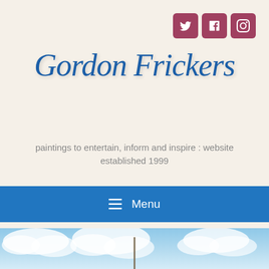[Figure (logo): Three social media icon buttons (Twitter, Facebook, Instagram) in mauve/rose color with white icons, arranged horizontally in the top-right corner]
Gordon Frickers
paintings to entertain, inform and inspire : website established 1999
≡ Menu
[Figure (photo): Partial view of a marine painting showing a pale blue sky with fluffy white clouds and the top of a mast or pole, cut off at the bottom of the page]